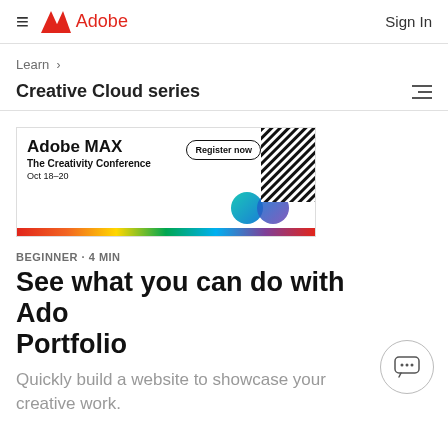Adobe
Learn >
Creative Cloud series
[Figure (illustration): Adobe MAX – The Creativity Conference banner ad. Text: 'Adobe MAX The Creativity Conference Oct 18–20' with a 'Register now' button. Colorful design with teal/blue shapes and diagonal stripe pattern on right side, rainbow gradient strip at bottom.]
BEGINNER · 4 MIN
See what you can do with Adobe Portfolio
Quickly build a website to showcase your creative work.